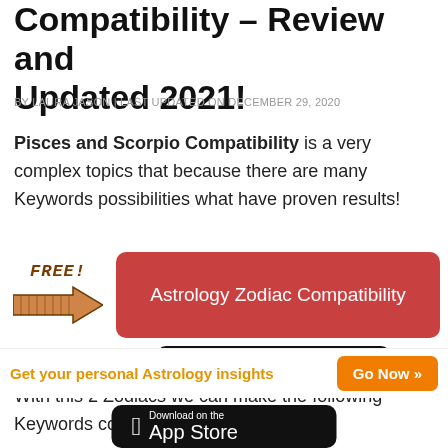Compatibility – Review and Updated 2021!
BY LAURA JASON | LAST UPDATED ON DECEMBER 29, 2020
Pisces and Scorpio Compatibility is a very complex topics that because there are many Keywords possibilities what have proven results!
[Figure (infographic): FREE! text with hand-drawn arrow pointing right to a red button labeled 'Astrology Zodiac Compatibility', below which is a black App Store download button]
With this 2 Zodiacs we can make the following Keywords combinations:
Get your personal Astrology insights
[Figure (infographic): Orange 'Go Now »' button]
[Figure (infographic): Black App Store download button at bottom]